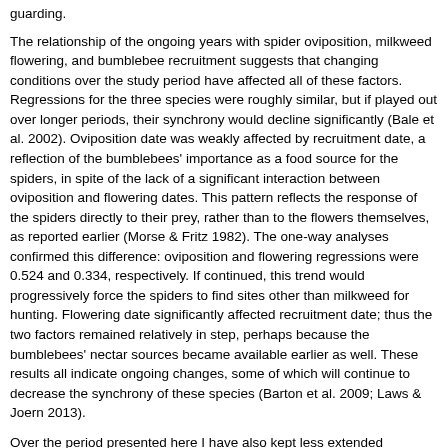guarding.
The relationship of the ongoing years with spider oviposition, milkweed flowering, and bumblebee recruitment suggests that changing conditions over the study period have affected all of these factors. Regressions for the three species were roughly similar, but if played out over longer periods, their synchrony would decline significantly (Bale et al. 2002). Oviposition date was weakly affected by recruitment date, a reflection of the bumblebees' importance as a food source for the spiders, in spite of the lack of a significant interaction between oviposition and flowering dates. This pattern reflects the response of the spiders directly to their prey, rather than to the flowers themselves, as reported earlier (Morse & Fritz 1982). The one-way analyses confirmed this difference: oviposition and flowering regressions were 0.524 and 0.334, respectively. If continued, this trend would progressively force the spiders to find sites other than milkweed for hunting. Flowering date significantly affected recruitment date; thus the two factors remained relatively in step, perhaps because the bumblebees' nectar sources became available earlier as well. These results all indicate ongoing changes, some of which will continue to decrease the synchrony of these species (Barton et al. 2009; Laws & Joern 2013).
Over the period presented here I have also kept less extended phenological data for several other species in the study area that are minimally related or unrelated to the spider-milkweed-bumblebee system, but show similar trends: emergence dates of adult Japanese beetles Popilia japonica, flight dates of Harris' checkerspot butterfly Chlosyne harrisii, and eclosion dates of the fern moth Herpetogramma theseusalis (Crambidae), the moth's common parasitoid wasp Alabagrus texanus (Braconidae), and its hyperparasitoid Aprostocetus sp. (Eulophidae) (D.H.